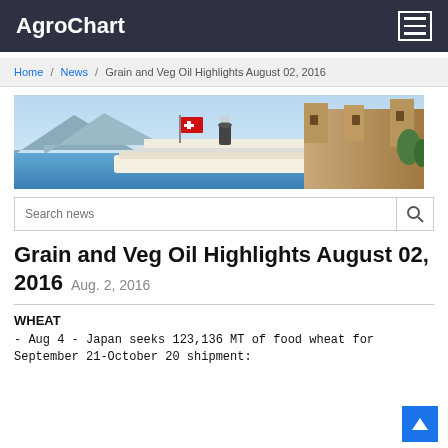AgroChart
Home / News / Grain and Veg Oil Highlights August 02, 2016
[Figure (photo): Banner image showing a Swiss paddlesteamer on a lake with a castle in the background and a Swiss flag.]
Search news
Grain and Veg Oil Highlights August 02, 2016   Aug. 2, 2016
WHEAT
- Aug 4 - Japan seeks 123,136 MT of food wheat for September 21-October 20 shipment: